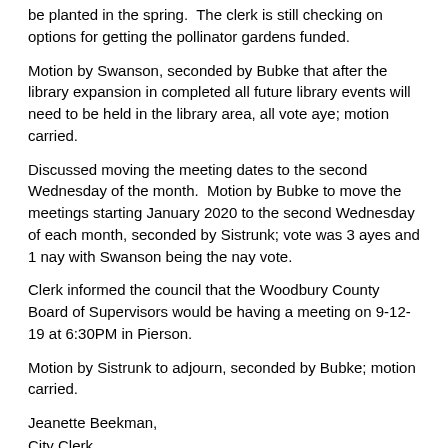be planted in the spring.  The clerk is still checking on options for getting the pollinator gardens funded.
Motion by Swanson, seconded by Bubke that after the library expansion in completed all future library events will need to be held in the library area, all vote aye; motion carried.
Discussed moving the meeting dates to the second Wednesday of the month.  Motion by Bubke to move the meetings starting January 2020 to the second Wednesday of each month, seconded by Sistrunk; vote was 3 ayes and 1 nay with Swanson being the nay vote.
Clerk informed the council that the Woodbury County Board of Supervisors would be having a meeting on 9-12-19 at 6:30PM in Pierson.
Motion by Sistrunk to adjourn, seconded by Bubke; motion carried.
Jeanette Beekman,
City Clerk
Published in The Record
Thursday, August 29, 2019